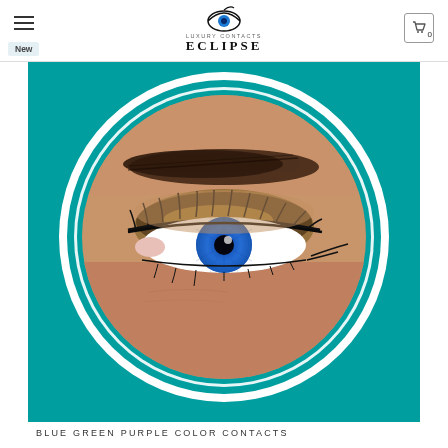Eclipse Luxury Contacts — Navigation header with logo and cart
[Figure (photo): Close-up photo of a person's eye wearing blue-green-purple color contact lenses, with smoky eye makeup, displayed in a circular frame on a teal background. The product image is shown on an e-commerce page for Eclipse Luxury Contacts.]
BLUE GREEN PURPLE COLOR CONTACTS